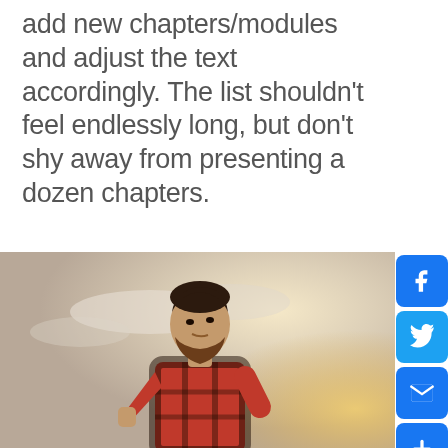add new chapters/modules and adjust the text accordingly. The list shouldn't feel endlessly long, but don't shy away from presenting a dozen chapters.
[Figure (photo): Bearded man in a red plaid flannel shirt standing outdoors against a bright hazy sky, looking upward to the left. Photo cropped at waist level.]